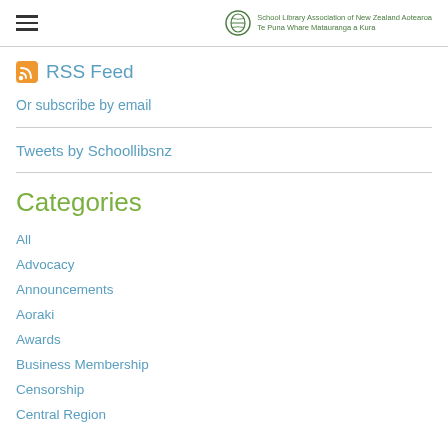School Library Association of New Zealand Aotearoa Te Puna Whare Matauranga a Kura
RSS Feed
Or subscribe by email
Tweets by Schoollibsnz
Categories
All
Advocacy
Announcements
Aoraki
Awards
Business Membership
Censorship
Central Region